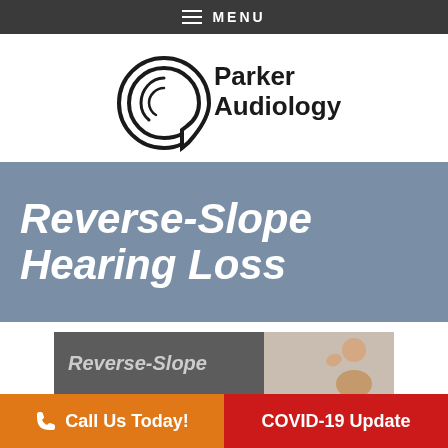MENU
[Figure (logo): Parker Audiology PC logo with ear graphic]
Reverse-Slope Hearing Loss
[Figure (photo): Article preview image showing 'Reverse-Slope' text with a person touching their ear]
Call Us Today!
COVID-19 Update